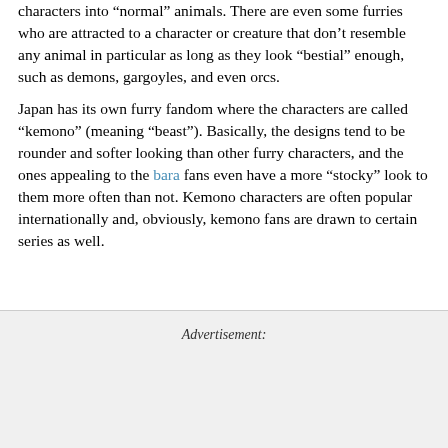characters into "normal" animals. There are even some furries who are attracted to a character or creature that don't resemble any animal in particular as long as they look "bestial" enough, such as demons, gargoyles, and even orcs.
Japan has its own furry fandom where the characters are called "kemono" (meaning "beast"). Basically, the designs tend to be rounder and softer looking than other furry characters, and the ones appealing to the bara fans even have a more "stocky" look to them more often than not. Kemono characters are often popular internationally and, obviously, kemono fans are drawn to certain series as well.
Advertisement: